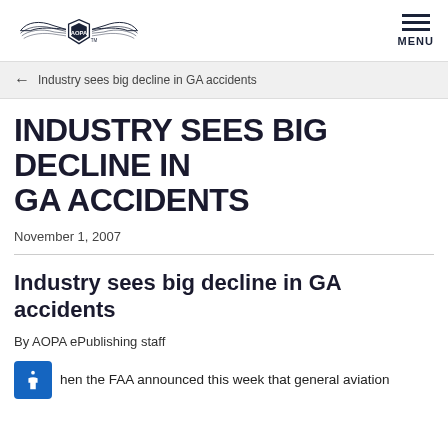AOPA logo | MENU
← Industry sees big decline in GA accidents
INDUSTRY SEES BIG DECLINE IN GA ACCIDENTS
November 1, 2007
Industry sees big decline in GA accidents
By AOPA ePublishing staff
hen the FAA announced this week that general aviation